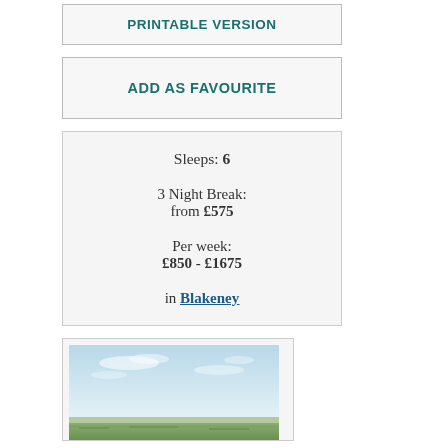PRINTABLE VERSION
ADD AS FAVOURITE
Sleeps: 6
3 Night Break:
from £575
Per week:
£850 - £1675
in Blakeney
[Figure (photo): Landscape photo showing a wide open flat marsh or coastal scene with a large pale blue sky with light clouds, and low green vegetation in the foreground, typical of the Blakeney/Norfolk area.]